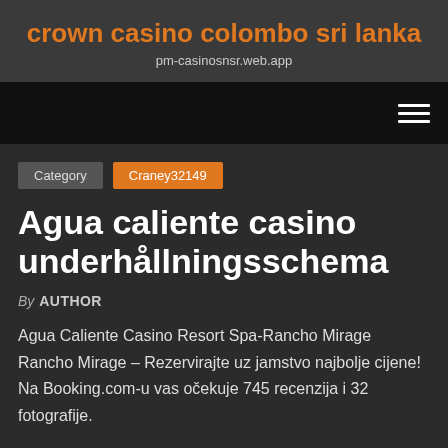crown casino colombo sri lanka
pm-casinosnsr.web.app
[Figure (other): Navigation bar with hamburger menu icon (three horizontal lines) on the right side, dark black background]
Category   Craney32149
Agua caliente casino underhållningsschema
By AUTHOR
Agua Caliente Casino Resort Spa-Rancho Mirage Rancho Mirage – Rezervirajte uz jamstvo najbolje cijene! Na Booking.com-u vas očekuje 745 recenzija i 32 fotografije.